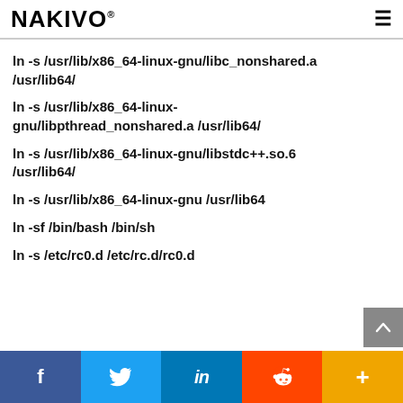NAKIVO
ln -s /usr/lib/x86_64-linux-gnu/libc_nonshared.a /usr/lib64/
ln -s /usr/lib/x86_64-linux-gnu/libpthread_nonshared.a /usr/lib64/
ln -s /usr/lib/x86_64-linux-gnu/libstdc++.so.6 /usr/lib64/
ln -s /usr/lib/x86_64-linux-gnu /usr/lib64
ln -sf /bin/bash /bin/sh
ln -s /etc/rc0.d /etc/rc.d/rc0.d